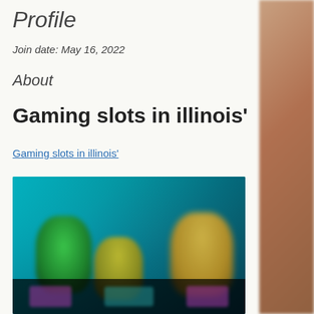Profile
Join date: May 16, 2022
About
Gaming slots in illinois'
Gaming slots in illinois'
[Figure (screenshot): A blurred screenshot of a gaming slots interface showing animated characters on a teal/blue background with a dark bottom bar containing game icons.]